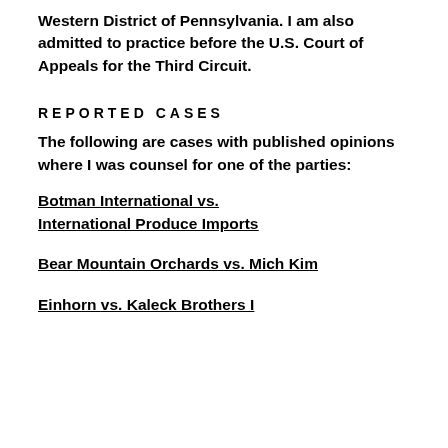Western District of Pennsylvania. I am also admitted to practice before the U.S. Court of Appeals for the Third Circuit.
REPORTED CASES
The following are cases with published opinions where I was counsel for one of the parties:
Botman International vs. International Produce Imports
Bear Mountain Orchards vs. Mich Kim
Einhorn vs. Kaleck Brothers I